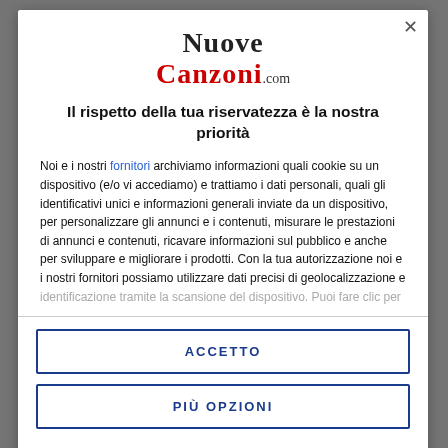[Figure (logo): NuoveCanzoni.com logo with 'Nuove' in black serif and 'Canzoni' in red serif, '.com' in smaller text]
Il rispetto della tua riservatezza è la nostra priorità
Noi e i nostri fornitori archiviamo informazioni quali cookie su un dispositivo (e/o vi accediamo) e trattiamo i dati personali, quali gli identificativi unici e informazioni generali inviate da un dispositivo, per personalizzare gli annunci e i contenuti, misurare le prestazioni di annunci e contenuti, ricavare informazioni sul pubblico e anche per sviluppare e migliorare i prodotti. Con la tua autorizzazione noi e i nostri fornitori possiamo utilizzare dati precisi di geolocalizzazione e identificazione tramite la scansione del dispositivo. Puoi fare clic per
ACCETTO
PIÙ OPZIONI
Redazione   Disclaimer   Privacy Policy